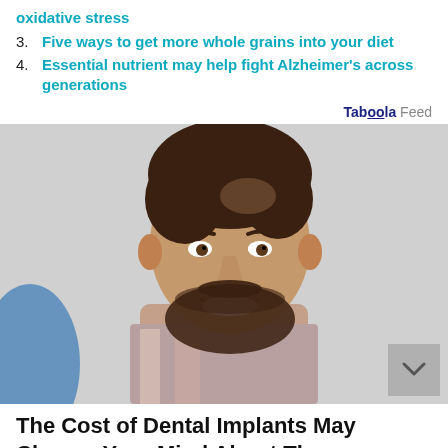oxidative stress
3. Five ways to get more whole grains into your diet
4. Essential nutrient may help fight Alzheimer's across generations
Taboola Feed
[Figure (photo): Smiling man with dark beard wearing a plaid shirt, photographed from the shoulders up with a blurred background]
The Cost of Dental Implants May Change Your Mind About Them